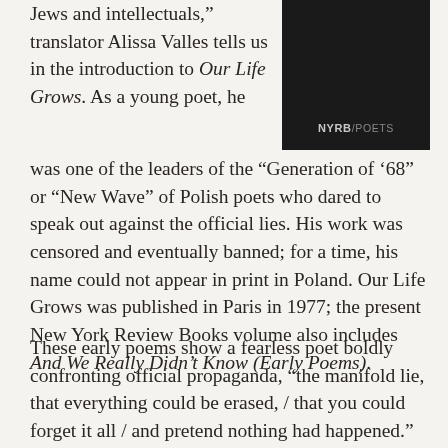Jews and intellectuals,” translator Alissa Valles tells us in the introduction to Our Life Grows. As a young poet, he was one of the leaders of the “Generation of ’68” or “New Wave” of Polish poets who dared to speak out against the official lies. His work was censored and eventually banned; for a time, his name could not appear in print in Poland. Our Life Grows was published in Paris in 1977; the present New York Review Books volume also includes And We Really Didn’t Know (Early Poems).
[Figure (illustration): Dark/black rectangular image with NYRB/POETS logo text at the bottom center in grey]
These early poems show a fearless poet boldly confronting official propaganda, “the manifold lie, that everything could be erased, / that you could forget it all / and pretend nothing had happened.” Krynicki’s dark humor often appears even in the early poems, as can be seen in passages concerning “Nikita /